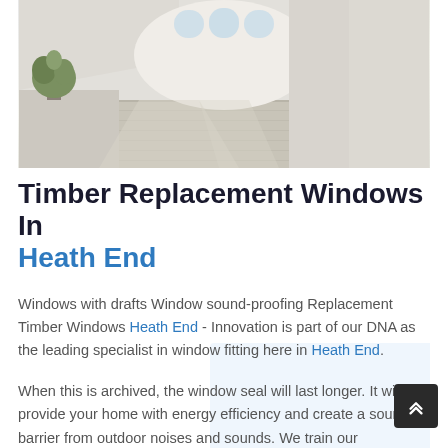[Figure (photo): Interior room with high vaulted white ceilings, arched windows letting in natural light, wooden floor, and a potted plant in the corner. Bright, airy modern space.]
Timber Replacement Windows In Heath End
Windows with drafts Window sound-proofing Replacement Timber Windows Heath End - Innovation is part of our DNA as the leading specialist in window fitting here in Heath End.
When this is archived, the window seal will last longer. It will provide your home with energy efficiency and create a sound barrier from outdoor noises and sounds. We train our technicians on all the latest types of technology used in